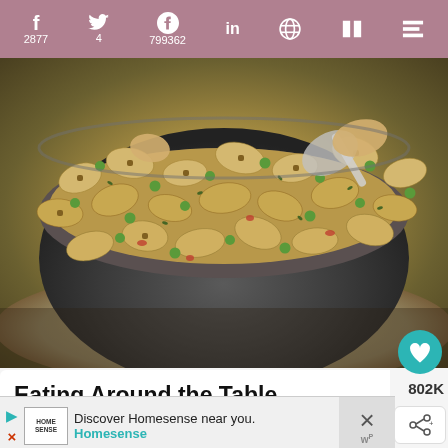f 2877  twitter 4  P 799362  in  reddit  F  m
[Figure (photo): Close-up photo of bowtie pasta (farfalle) with peas, chicken, and herbs in a dark gray baking dish on a plate]
Eating Around the Table Beginners Guide to Easy Homemade Family
Discover Homesense near you. Homesense